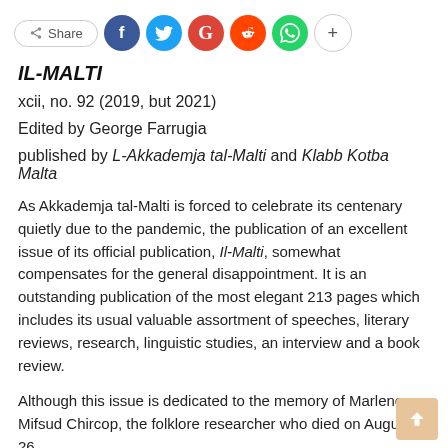[Figure (other): Social share bar with Share button and social media icons: Facebook (blue), Twitter (cyan), Google (red), Reddit (orange-red), WhatsApp (green), and a plus button]
IL-MALTI
xcii, no. 92 (2019, but 2021)
Edited by George Farrugia
published by L-Akkademja tal-Malti and Klabb Kotba Malta
As Akkademja tal-Malti is forced to celebrate its centenary quietly due to the pandemic, the publication of an excellent issue of its official publication, Il-Malti, somewhat compensates for the general disappointment. It is an outstanding publication of the most elegant 213 pages which includes its usual valuable assortment of speeches, literary reviews, research, linguistic studies, an interview and a book review.
Although this issue is dedicated to the memory of Marlene Mifsud Chircop, the folklore researcher who died on August 26,